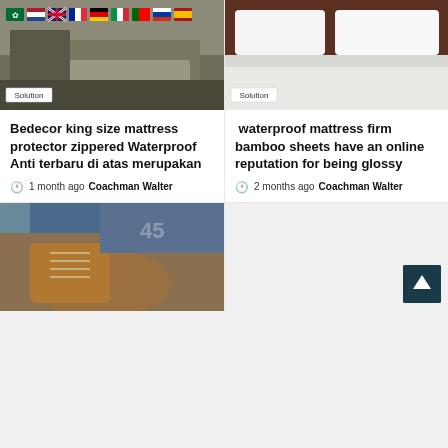[Figure (photo): Living room interior with sofa, overlaid with row of country flags (Arabic, Netherlands, UK, France, Germany, Italy, Portugal, Russia, Spain). Solution badge visible.]
[Figure (photo): White hotel bed with pillows and dark headboard. Solution badge visible.]
Bedecor king size mattress protector zippered Waterproof Anti terbaru di atas merupakan
1 month ago  Coachman Walter
waterproof mattress firm bamboo sheets have an online reputation for being glossy
2 months ago  Coachman Walter
[Figure (photo): Close-up of brown leather lace-up boots with jeans, person tying or handling boots.]